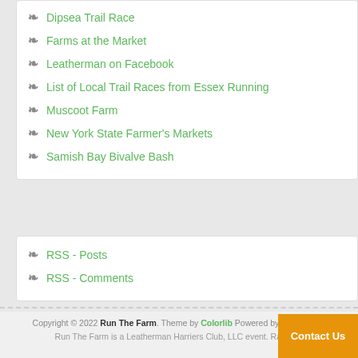Dipsea Trail Race
Farms at the Market
Leatherman on Facebook
List of Local Trail Races from Essex Running
Muscoot Farm
New York State Farmer's Markets
Samish Bay Bivalve Bash
RSS - Posts
RSS - Comments
Copyright © 2022 Run The Farm. Theme by Colorlib Powered by WordPress
Run The Farm is a Leatherman Harriers Club, LLC event. Race Ho